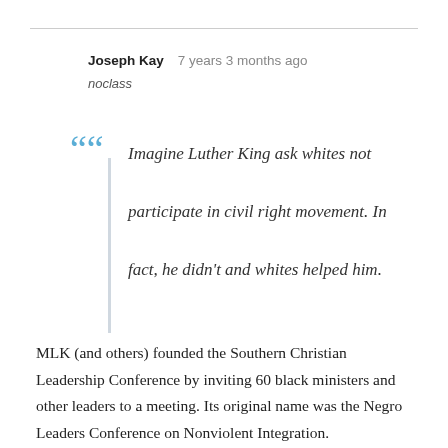Joseph Kay   7 years 3 months ago
noclass
Imagine Luther King ask whites not participate in civil right movement. In fact, he didn't and whites helped him.
MLK (and others) founded the Southern Christian Leadership Conference by inviting 60 black ministers and other leaders to a meeting. Its original name was the Negro Leaders Conference on Nonviolent Integration.